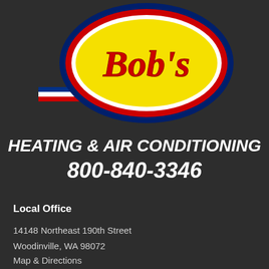[Figure (logo): Bob's Heating & Air Conditioning logo: yellow oval with red and blue border, speech-bubble style with red cursive 'Bob's' text, and red/white/blue horizontal stripes extending to the left]
HEATING & AIR CONDITIONING
800-840-3346
Local Office
14148 Northeast 190th Street
Woodinville, WA 98072
Map & Directions